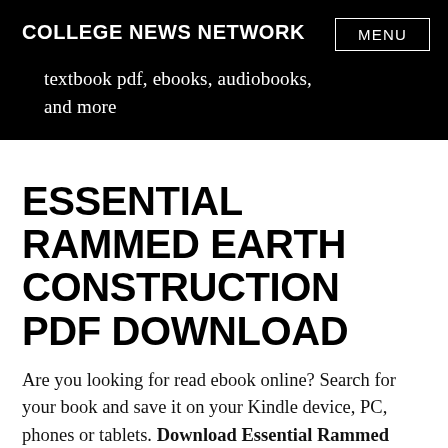COLLEGE NEWS NETWORK
textbook pdf, ebooks, audiobooks, and more
ESSENTIAL RAMMED EARTH CONSTRUCTION PDF DOWNLOAD
Are you looking for read ebook online? Search for your book and save it on your Kindle device, PC, phones or tablets. Download Essential Rammed Earth Construction PDF full book. Access full book title Essential Rammed Earth Construction